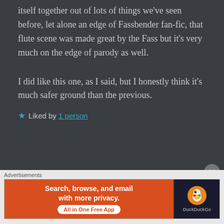itself together out of lots of things we've seen before, let alone an edge of Fassbender fan-fic, that flute scene was made great by the Fass but it's very much on the edge of parody as well.
I did like this one, as I said, but I honestly think it's much safer ground than the previous.
★ Liked by 1 person
LUKE KENT says:
[Figure (screenshot): DuckDuckGo advertisement banner: orange left panel with white text 'Search, browse, and email with more privacy. All in One Free App' and dark right panel with DuckDuckGo duck logo]